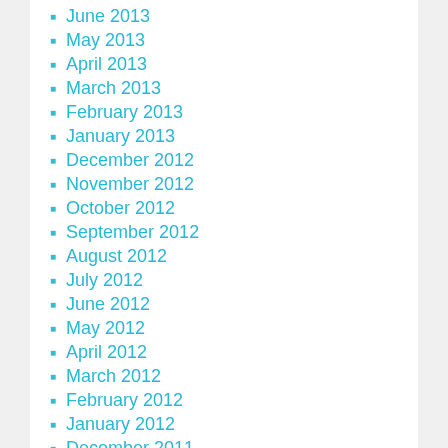June 2013
May 2013
April 2013
March 2013
February 2013
January 2013
December 2012
November 2012
October 2012
September 2012
August 2012
July 2012
June 2012
May 2012
April 2012
March 2012
February 2012
January 2012
December 2011
November 2011
October 2011